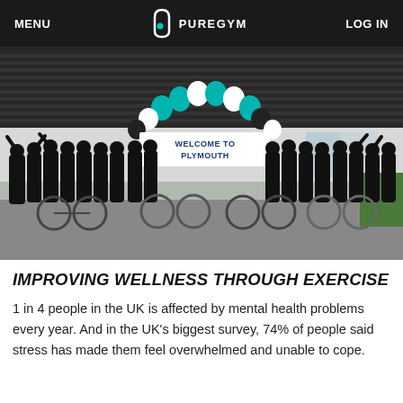MENU   PUREGYM   LOG IN
[Figure (photo): Group photo of a large team of cyclists in black t-shirts with bikes, celebrating in front of a PureGym building with a 'Welcome to Plymouth' banner and teal and white balloon arch overhead.]
IMPROVING WELLNESS THROUGH EXERCISE
1 in 4 people in the UK is affected by mental health problems every year. And in the UK's biggest survey, 74% of people said stress has made them feel overwhelmed and unable to cope.